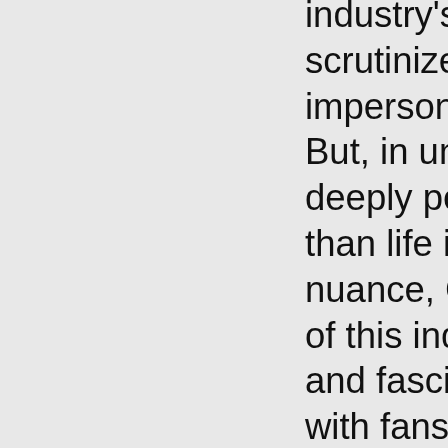industry's largest players has long been scrutinized and gutted, characterized as impersonal, greedy, corporate, and worse. But, in unexpected ways, fast food is also deeply personal and emblematic of a larger than life image of America.With wit and nuance, Chandler reveals the complexities of this industry through heartfelt anecdotes and fascinating trivia as well as interviews with fans, executives, and workers. He traces the industry from its roots in Wichita, where White Castle became the first fast food chain in 1921 and successfully branded the hamburger as the official all-American meal, to a teenager's 2017 plea for a year's supply of Wendy's chicken nuggets, which united the internet to generate the most viral tweet of all time.Drive-Thru Dreams by Adam Chandler tells an intimate and contemporary story of America -- its humble beginning, its innovations and failures, its international charisma, and its regional identities -- through its beloved roadside fare.